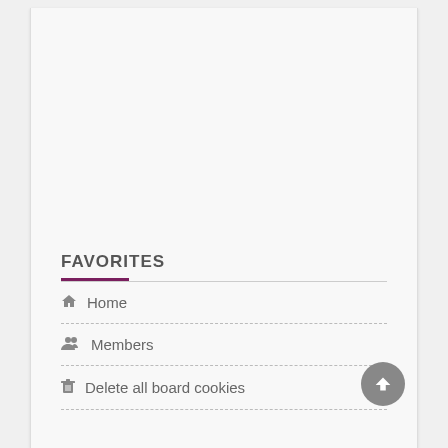FAVORITES
Home
Members
Delete all board cookies